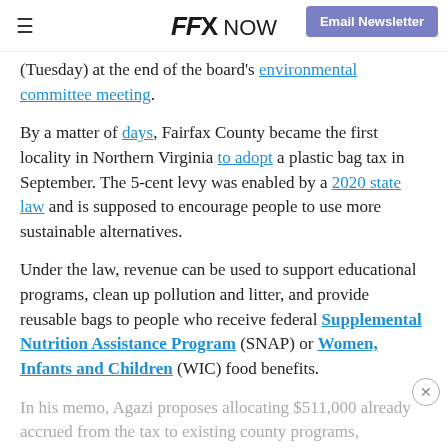FFX NOW | Email Newsletter
(Tuesday) at the end of the board's environmental committee meeting.
By a matter of days, Fairfax County became the first locality in Northern Virginia to adopt a plastic bag tax in September. The 5-cent levy was enabled by a 2020 state law and is supposed to encourage people to use more sustainable alternatives.
Under the law, revenue can be used to support educational programs, clean up pollution and litter, and provide reusable bags to people who receive federal Supplemental Nutrition Assistance Program (SNAP) or Women, Infants and Children (WIC) food benefits.
In his memo, Agazi proposes allocating $511,000 already accrued from the tax to existing county programs, including...